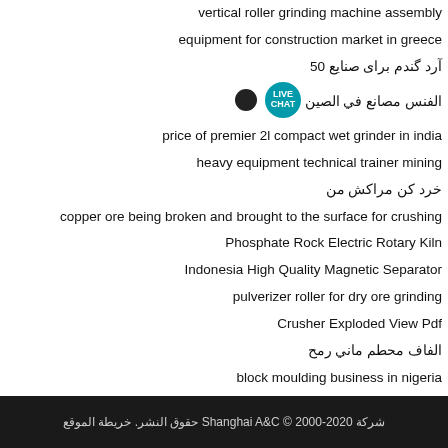vertical roller grinding machine assembly
equipment for construction market in greece
آرد گندم برای صنایع 50
الفنس مصانع في الصين
price of premier 2l compact wet grinder in india
heavy equipment technical trainer mining
خرد کن مراکش من
copper ore being broken and brought to the surface for crushing
Phosphate Rock Electric Rotary Kiln
Indonesia High Quality Magnetic Separator
pulverizer roller for dry ore grinding
Crusher Exploded View Pdf
الفاف محطم ماني رمح
block moulding business in nigeria
Rovisha Domestic Micro Pulverizer
ball mill manufacturer in the world in delhi india
high capacity mining nylon belt conveyor
Crusher 400 600 Prce Lst
شركة Shanghai A&C © 2000-2020 حقوق النشر. خريطة الموقع